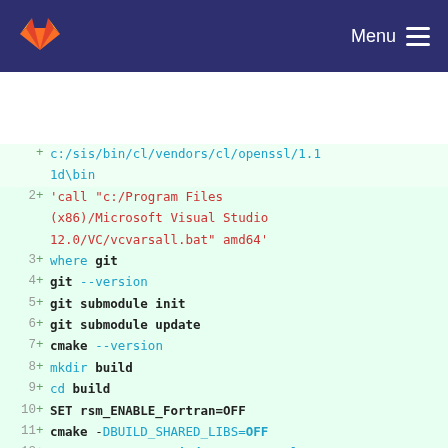GitLab — Menu
Code diff showing lines 1-14 of a CI/CD configuration script for Windows build with cmake, git, OpenSSL
[Figure (screenshot): GitLab CI/CD YAML diff view showing added lines for Windows build script including calls to vcvarsall.bat, git submodule, cmake configuration with OpenSSL and LibSSH paths]